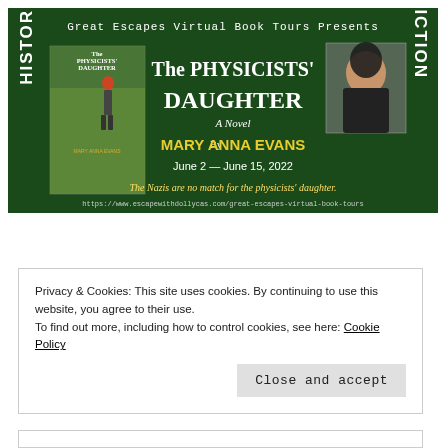[Figure (illustration): Great Escapes Virtual Book Tours banner for 'The Physicists' Daughter' by Mary Anna Evans. Dark green background with vertical 'HISTORICAL' on left and 'FICTION' on right in white block letters. Center shows book cover with a red-haired woman walking away down a street, title in large white/yellow text, author name in yellow, tour dates June 2 — June 15, 2022, tagline 'The Nazis are no match for the physicists' daughter.' Author photo in top right corner. URL at bottom.]
Privacy & Cookies: This site uses cookies. By continuing to use this website, you agree to their use.
To find out more, including how to control cookies, see here: Cookie Policy